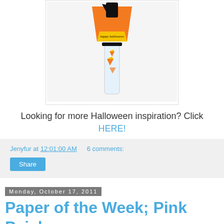[Figure (photo): Photo of a Halloween candy corn craft — a tube filled with candy corn decorated with a happy halloween tag and black cat silhouette cutout]
Looking for more Halloween inspiration? Click HERE!
Jenyfur at 12:01:00 AM   6 comments:
Share
Monday, October 17, 2011
Paper of the Week; Pink Paislee
As part of our ongoing Paper of the Week Feature, we are